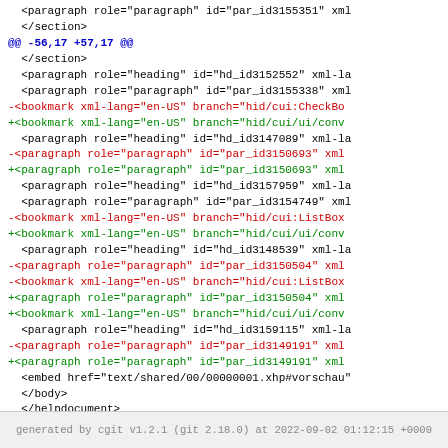Code diff showing XML file changes including paragraph, section, bookmark and embed elements
generated by cgit v1.2.1 (git 2.18.0) at 2022-09-02 01:12:15 +0000